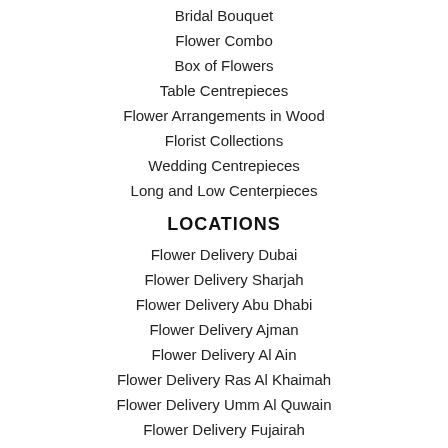Bridal Bouquet
Flower Combo
Box of Flowers
Table Centrepieces
Flower Arrangements in Wood
Florist Collections
Wedding Centrepieces
Long and Low Centerpieces
LOCATIONS
Flower Delivery Dubai
Flower Delivery Sharjah
Flower Delivery Abu Dhabi
Flower Delivery Ajman
Flower Delivery Al Ain
Flower Delivery Ras Al Khaimah
Flower Delivery Umm Al Quwain
Flower Delivery Fujairah